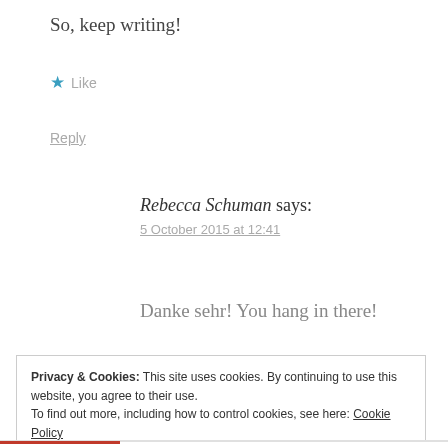So, keep writing!
★ Like
Reply
Rebecca Schuman says:
5 October 2015 at 12:41
Danke sehr! You hang in there!
Privacy & Cookies: This site uses cookies. By continuing to use this website, you agree to their use.
To find out more, including how to control cookies, see here: Cookie Policy
Close and accept